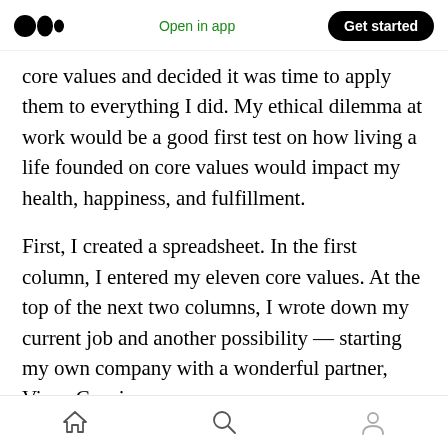Open in app | Get started
core values and decided it was time to apply them to everything I did. My ethical dilemma at work would be a good first test on how living a life founded on core values would impact my health, happiness, and fulfillment.
First, I created a spreadsheet. In the first column, I entered my eleven core values. At the top of the next two columns, I wrote down my current job and another possibility — starting my own company with a wonderful partner, Vince Cucci.
I wrote a number between one and ten in each
Home | Search | Profile